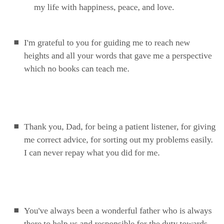my life with happiness, peace, and love.
I'm grateful to you for guiding me to reach new heights and all your words that gave me a perspective which no books can teach me.
Thank you, Dad, for being a patient listener, for giving me correct advice, for sorting out my problems easily. I can never repay what you did for me.
You've always been a wonderful father who is always there to help us and responsible for the duty towards his child and family. Thank you, Daddy, for everything.